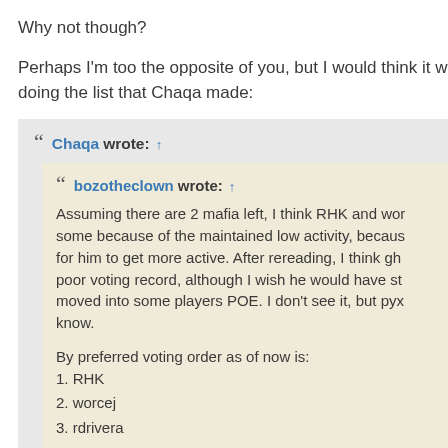Why not though?
Perhaps I'm too the opposite of you, but I would think it w doing the list that Chaqa made:
Chaqa wrote: ↑
bozotheclown wrote: ↑ Assuming there are 2 mafia left, I think RHK and wor some because of the maintained low activity, becaus for him to get more active. After rereading, I think gh poor voting record, although I wish he would have st moved into some players POE. I don't see it, but pyx know.
By preferred voting order as of now is:
1. RHK
2. worcej
3. rdrivera